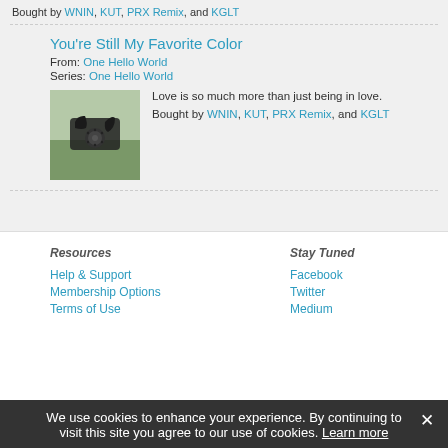Bought by WNIN, KUT, PRX Remix, and KGLT
You're Still My Favorite Color
From: One Hello World
Series: One Hello World
Love is so much more than just being in love.
Bought by WNIN, KUT, PRX Remix, and KGLT
Resources
Help & Support
Membership Options
Terms of Use
Stay Tuned
Facebook
Twitter
Medium
We use cookies to enhance your experience. By continuing to visit this site you agree to our use of cookies. Learn more